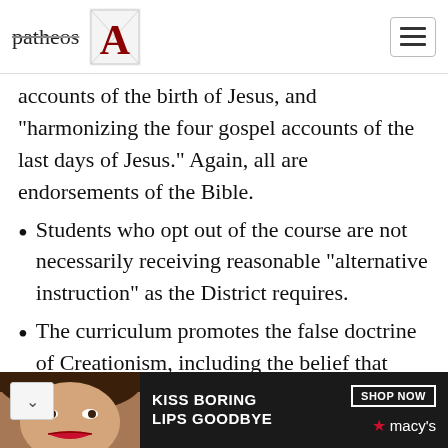patheos | A (logo) | hamburger menu
accounts of the birth of Jesus, and “harmonizing the four gospel accounts of the last days of Jesus.” Again, all are endorsements of the Bible.
Students who opt out of the course are not necessarily receiving reasonable “alternative instruction” as the District requires.
The curriculum promotes the false doctrine of Creationism, including the belief that humans and dinosaurs lived at
[Figure (photo): Advertisement banner: woman's face with red lips, text 'KISS BORING LIPS GOODBYE', 'SHOP NOW', Macy's star logo]